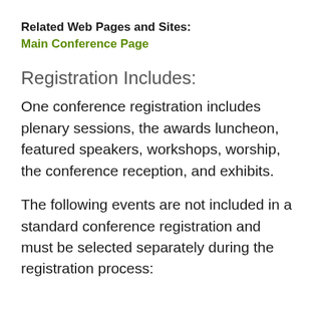Related Web Pages and Sites:
Main Conference Page
Registration Includes:
One conference registration includes plenary sessions, the awards luncheon, featured speakers, workshops, worship, the conference reception, and exhibits.
The following events are not included in a standard conference registration and must be selected separately during the registration process: